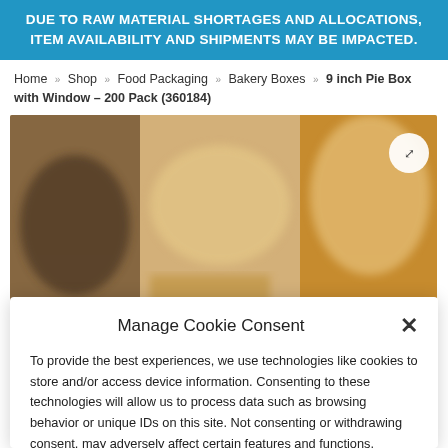DUE TO RAW MATERIAL SHORTAGES AND ALLOCATIONS, ITEM AVAILABILITY AND SHIPMENTS MAY BE IMPACTED.
Home » Shop » Food Packaging » Bakery Boxes » 9 inch Pie Box with Window – 200 Pack (360184)
[Figure (photo): Blurred bakery product image showing bread/baked goods in display cases]
Manage Cookie Consent
To provide the best experiences, we use technologies like cookies to store and/or access device information. Consenting to these technologies will allow us to process data such as browsing behavior or unique IDs on this site. Not consenting or withdrawing consent, may adversely affect certain features and functions.
Accept